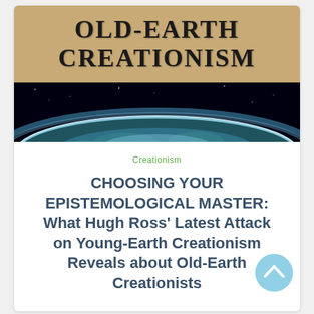[Figure (illustration): Website banner for 'Old-Earth Creationism' — top half shows parchment/tan background with bold serif text 'OLD-EARTH CREATIONISM', bottom half shows a dark space/earth panorama image with glowing blue atmosphere.]
Creationism
CHOOSING YOUR EPISTEMOLOGICAL MASTER: What Hugh Ross' Latest Attack on Young-Earth Creationism Reveals about Old-Earth Creationists